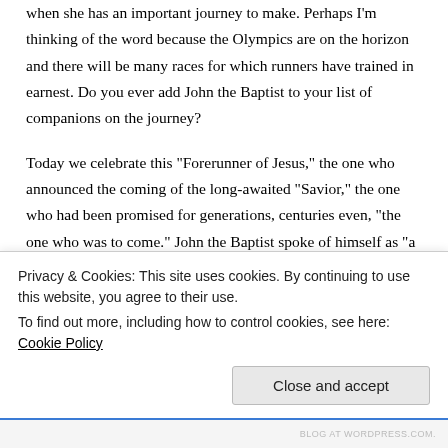when she has an important journey to make. Perhaps I'm thinking of the word because the Olympics are on the horizon and there will be many races for which runners have trained in earnest. Do you ever add John the Baptist to your list of companions on the journey?
Today we celebrate this “Forerunner of Jesus,” the one who announced the coming of the long-awaited “Savior,” the one who had been promised for generations, centuries even, “the one who was to come.” John the Baptist spoke of himself as “a voice crying in the wilderness” to announce the coming of
Privacy & Cookies: This site uses cookies. By continuing to use this website, you agree to their use.
To find out more, including how to control cookies, see here: Cookie Policy
Close and accept